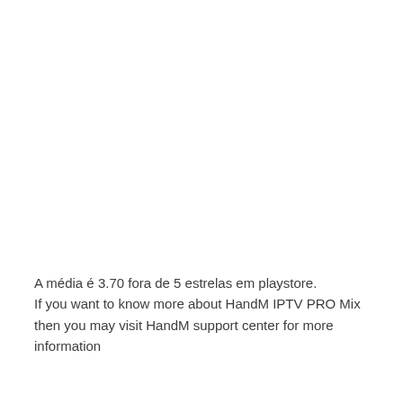A média é 3.70 fora de 5 estrelas em playstore. If you want to know more about HandM IPTV PRO Mix then you may visit HandM support center for more information